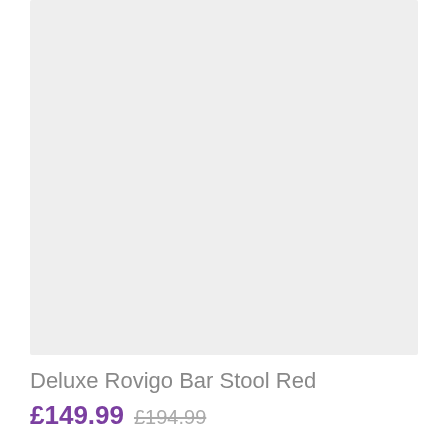[Figure (photo): Product image placeholder area with light grey background for Deluxe Rovigo Bar Stool Red]
Deluxe Rovigo Bar Stool Red
£149.99  £194.99